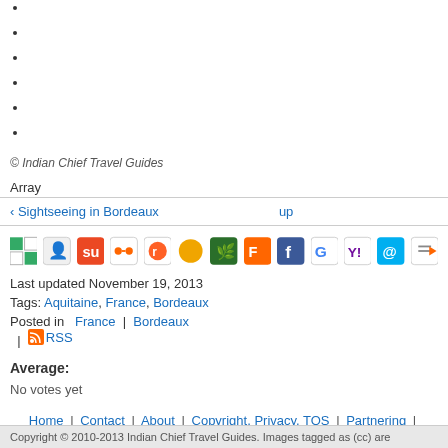© Indian Chief Travel Guides
Array
‹ Sightseeing in Bordeaux    up
[Figure (other): Social sharing icons: Delicious, MySpace, StumbleUpon, Ning, Reddit, Sphere, Nature, Furl, Facebook, Google, Yahoo, Skype, and another icon]
Last updated November 19, 2013
Tags: Aquitaine, France, Bordeaux
Posted in   France  |  Bordeaux   |  RSS
Average:
No votes yet
Home | Contact | About | Copyright, Privacy, TOS | Partnering | Sitemap
Copyright © 2010-2013 Indian Chief Travel Guides. Images tagged as (cc) are